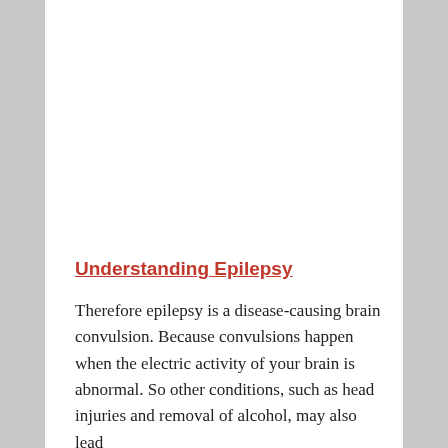Understanding Epilepsy
Therefore epilepsy is a disease-causing brain convulsion. Because convulsions happen when the electric activity of your brain is abnormal. So other conditions, such as head injuries and removal of alcohol, may also lead